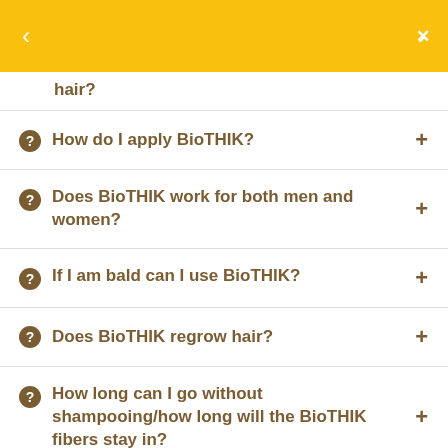< ×
hair?
How do I apply BioTHIK?
Does BioTHIK work for both men and women?
If I am bald can I use BioTHIK?
Does BioTHIK regrow hair?
How long can I go without shampooing/how long will the BioTHIK fibers stay in?